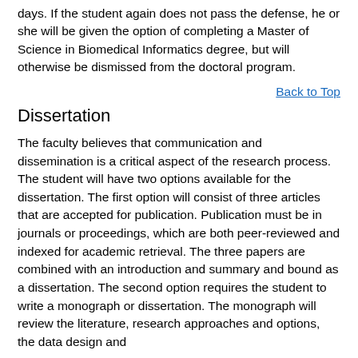days. If the student again does not pass the defense, he or she will be given the option of completing a Master of Science in Biomedical Informatics degree, but will otherwise be dismissed from the doctoral program.
Back to Top
Dissertation
The faculty believes that communication and dissemination is a critical aspect of the research process. The student will have two options available for the dissertation. The first option will consist of three articles that are accepted for publication. Publication must be in journals or proceedings, which are both peer-reviewed and indexed for academic retrieval. The three papers are combined with an introduction and summary and bound as a dissertation. The second option requires the student to write a monograph or dissertation. The monograph will review the literature, research approaches and options, the data design and